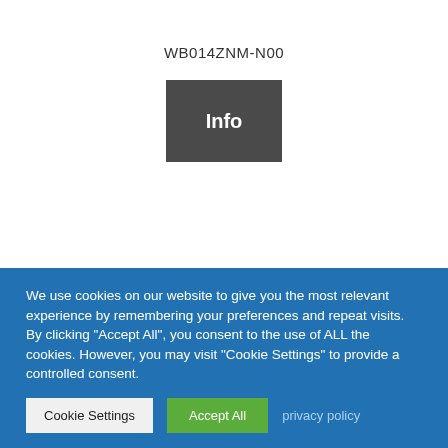WB014ZNM-N00
[Figure (other): Dark grey rectangular button labeled 'Info' in bold white text]
We use cookies on our website to give you the most relevant experience by remembering your preferences and repeat visits. By clicking "Accept All", you consent to the use of ALL the cookies. However, you may visit "Cookie Settings" to provide a controlled consent.
Cookie Settings   Accept All   privacy policy